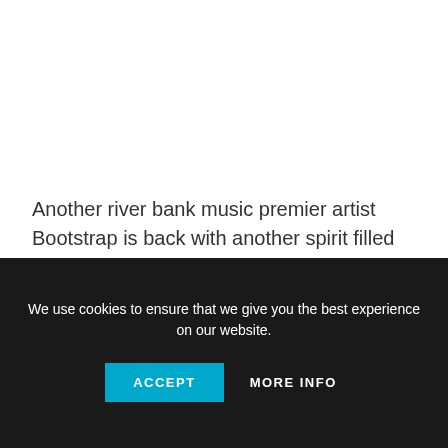Another river bank music premier artist Bootstrap is back with another spirit filled sound.This faith boosting,spirit lifting and mind blowing song was inspired by God in him and of a certainty it'll cause you to believe in the name of Jesus and the authority it commands more than you ever did,as you listen and keep listening to it.
We use cookies to ensure that we give you the best experience on our website.